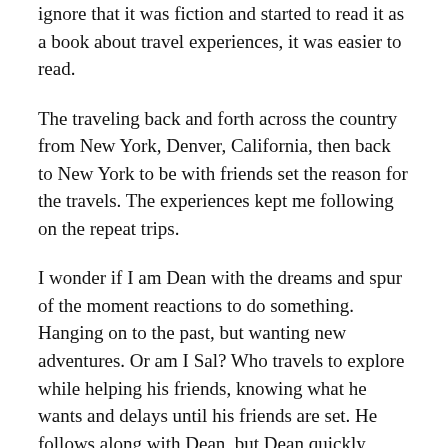ignore that it was fiction and started to read it as a book about travel experiences, it was easier to read.
The traveling back and forth across the country from New York, Denver, California, then back to New York to be with friends set the reason for the travels. The experiences kept me following on the repeat trips.
I wonder if I am Dean with the dreams and spur of the moment reactions to do something. Hanging on to the past, but wanting new adventures. Or am I Sal? Who travels to explore while helping his friends, knowing what he wants and delays until his friends are set. He follows along with Dean, but Dean quickly abandons Sal when times get too tough. Yet Sal always opens his heart back to Dean.
The story ends rather abruptly. Almost as if I expected a “to be continued...” notice on the last page. But there